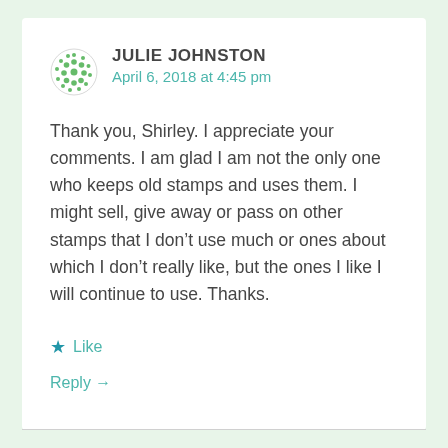JULIE JOHNSTON
April 6, 2018 at 4:45 pm
Thank you, Shirley. I appreciate your comments. I am glad I am not the only one who keeps old stamps and uses them. I might sell, give away or pass on other stamps that I don't use much or ones about which I don't really like, but the ones I like I will continue to use. Thanks.
★ Like
Reply →